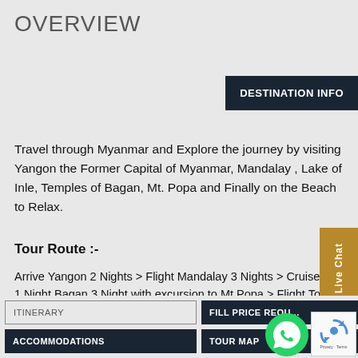OVERVIEW
DESTINATION INFO
Travel through Myanmar and Explore the journey by visiting Yangon the Former Capital of Myanmar, Mandalay , Lake of Inle, Temples of Bagan, Mt. Popa and Finally on the Beach to Relax.
Tour Route :-
Arrive Yangon 2 Nights > Flight Mandalay 3 Nights > Cruise 1 Night Bagan 3 Night with excursion to Mt Popa > Flight To Inle lake 2 Night > Flight to Thandwe to Ngapali Beach 3 Nights > Flight To Yangon 1 Night & Leave.
Live Chat
ITINERARY
FILL PRICE REQU...
ACCOMMODATIONS
TOUR MAP